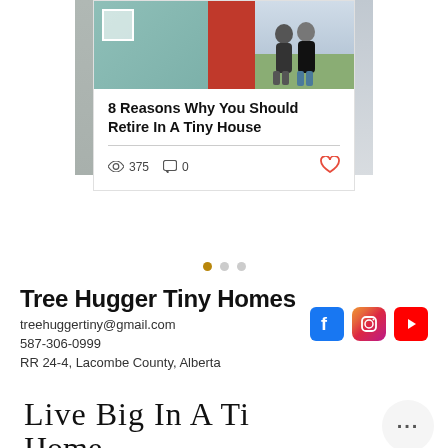[Figure (photo): Blog card showing a couple standing in front of a tiny house with teal siding and red door, with partial images on either side suggesting a carousel]
8 Reasons Why You Should Retire In A Tiny House
375 views · 0 comments · like
● ● ●  (carousel dots, first active)
Tree Hugger Tiny Homes
treehuggertiny@gmail.com
587-306-0999
RR 24-4, Lacombe County, Alberta
[Figure (logo): Facebook, Instagram, YouTube social media icons]
Live Big In A Ti... Home